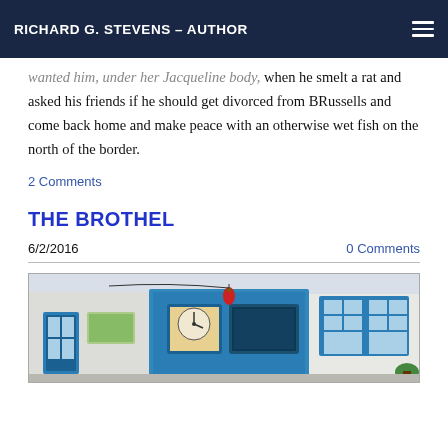RICHARD G. STEVENS – AUTHOR
wanted him, under her Jacqueline body, when he smelt a rat and asked his friends if he should get divorced from BRussells and come back home and make peace with an otherwise wet fish on the north of the border.
2 Comments
THE BROTHEL
6/2/2016
0 Comments
[Figure (photo): Photograph of a building facade with blue-framed windows and doors, a red lantern hanging outside, and various signs. Appears to be a street-level shop or establishment with Mediterranean or European styling.]